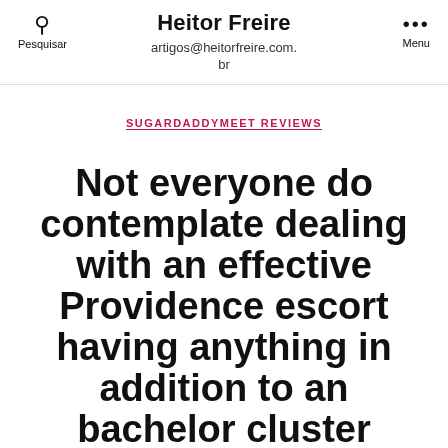Heitor Freire
artigos@heitorfreire.com.br
SUGARDADDYMEET REVIEWS
Not everyone do contemplate dealing with an effective Providence escort having anything in addition to an bachelor cluster otherwise erotic